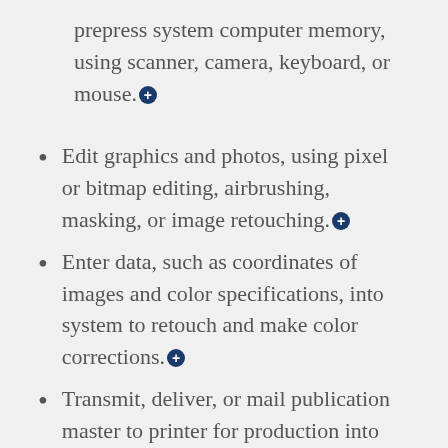prepress system computer memory, using scanner, camera, keyboard, or mouse.+
Edit graphics and photos, using pixel or bitmap editing, airbrushing, masking, or image retouching.+
Enter data, such as coordinates of images and color specifications, into system to retouch and make color corrections.+
Transmit, deliver, or mail publication master to printer for production into film and plates.+
Collaborate with graphic artists, editors